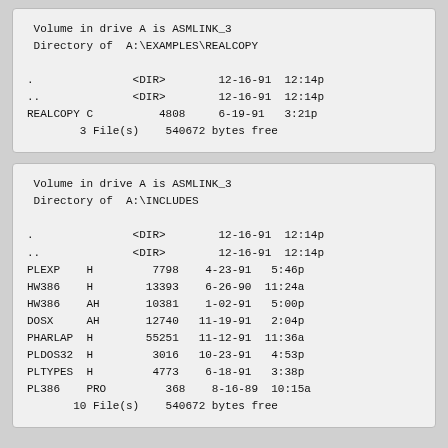Volume in drive A is ASMLINK_3
Directory of  A:\EXAMPLES\REALCOPY

.               <DIR>        12-16-91  12:14p
..              <DIR>        12-16-91  12:14p
REALCOPY C          4808     6-19-91   3:21p
        3 File(s)    540672 bytes free
Volume in drive A is ASMLINK_3
Directory of  A:\INCLUDES

.               <DIR>        12-16-91  12:14p
..              <DIR>        12-16-91  12:14p
PLEXP    H         7798    4-23-91   5:46p
HW386    H        13393    6-26-90  11:24a
HW386    AH       10381    1-02-91   5:00p
DOSX     AH       12740   11-19-91   2:04p
PHARLAP  H        55251   11-12-91  11:36a
PLDOS32  H         3016   10-23-91   4:53p
PLTYPES  H         4773    6-18-91   3:38p
PL386    PRO         368    8-16-89  10:15a
       10 File(s)    540672 bytes free